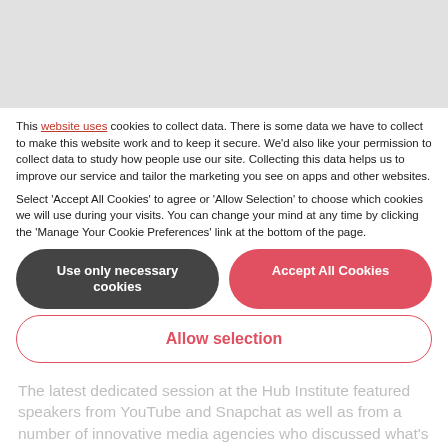[Figure (other): Gray banner at top of page]
The Future of Digital Advertising and Why the Benefits of Video are Clear
This website uses cookies to collect data. There is some data we have to collect to make this website work and to keep it secure. We'd also like your permission to collect data to study how people use our site. Collecting this data helps us to improve our service and tailor the marketing you see on apps and other websites.
Select 'Accept All Cookies' to agree or 'Allow Selection' to choose which cookies we will use during your visits. You can change your mind at any time by clicking the 'Manage Your Cookie Preferences' link at the bottom of the page.
The latest dedicated session at the Hub Institute featured speakers from YouTube and Snapchat as well as from a number of innovative media agencies who discussed what's next for companies looking to harness every channel and every technology for promoting themselves, their services and their products.
Use only necessary cookies
Accept All Cookies
Allow selection